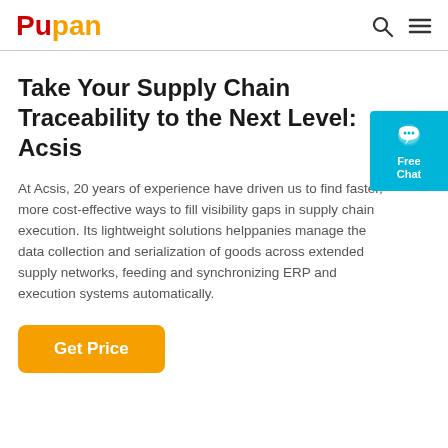Pupan
Take Your Supply Chain Traceability to the Next Level: Acsis
At Acsis, 20 years of experience have driven us to find faster, more cost-effective ways to fill visibility gaps in supply chain execution. Its lightweight solutions helppanies manage the data collection and serialization of goods across extended supply networks, feeding and synchronizing ERP and execution systems automatically.
Get Price